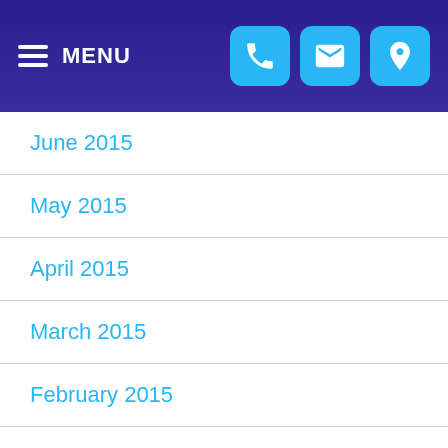MENU
June 2015
May 2015
April 2015
March 2015
February 2015
January 2015
December 2014
November 2014